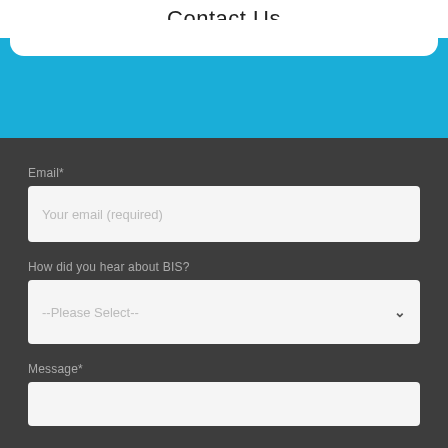Contact Us
Email*
Your email (required)
How did you hear about BIS?
--Please Select--
Message*